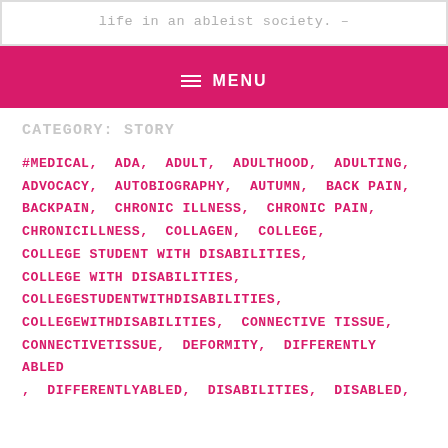life in an ableist society. –
≡ MENU
CATEGORY: STORY
#MEDICAL, ADA, ADULT, ADULTHOOD, ADULTING, ADVOCACY, AUTOBIOGRAPHY, AUTUMN, BACK PAIN, BACKPAIN, CHRONIC ILLNESS, CHRONIC PAIN, CHRONICILLNESS, COLLAGEN, COLLEGE, COLLEGE STUDENT WITH DISABILITIES, COLLEGE WITH DISABILITIES, COLLEGESTUDENTWITHDISABILITIES, COLLEGEWITHDISABILITIES, CONNECTIVE TISSUE, CONNECTIVETISSUE, DEFORMITY, DIFFERENTLY ABLED, DIFFERENTLYABLED, DISABILITIES, DISABLED,